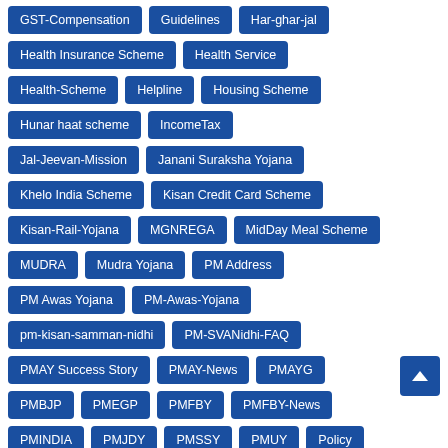GST-Compensation
Guidelines
Har-ghar-jal
Health Insurance Scheme
Health Service
Health-Scheme
Helpline
Housing Scheme
Hunar haat scheme
IncomeTax
Jal-Jeevan-Mission
Janani Suraksha Yojana
Khelo India Scheme
Kisan Credit Card Scheme
Kisan-Rail-Yojana
MGNREGA
MidDay Meal Scheme
MUDRA
Mudra Yojana
PM Address
PM Awas Yojana
PM-Awas-Yojana
pm-kisan-samman-nidhi
PM-SVANidhi-FAQ
PMAY Success Story
PMAY-News
PMAYG
PMBJP
PMEGP
PMFBY
PMFBY-News
PMINDIA
PMJDY
PMSSY
PMUY
Policy
Prime Minister Scheme
Progress Report
Sports